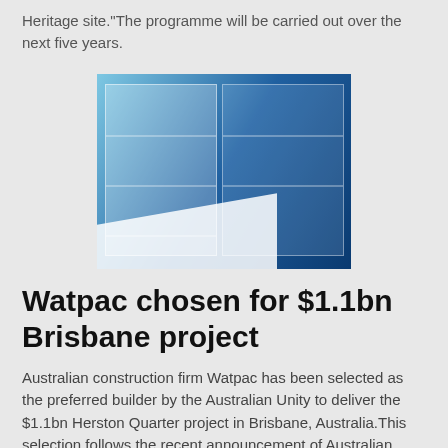Heritage site."The programme will be carried out over the next five years.
[Figure (photo): Interior view of a building with glass display panels and blue-lit interior, possibly a museum or modern facility in Brisbane]
Watpac chosen for $1.1bn Brisbane project
Australian construction firm Watpac has been selected as the preferred builder by the Australian Unity to deliver the $1.1bn Herston Quarter project in Brisbane, Australia.This selection follows the recent announcement of Australian Unity — a healthcare, financial services, and independent and assisted living organisation — as the preferred tenderer for the project by the